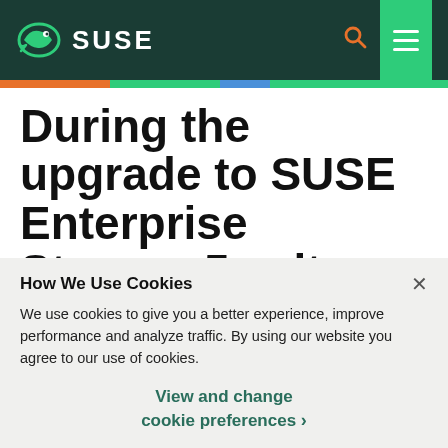SUSE
During the upgrade to SUSE Enterprise Storage 5 salt stage 1 returns an error for
How We Use Cookies
We use cookies to give you a better experience, improve performance and analyze traffic. By using our website you agree to our use of cookies.
View and change cookie preferences >